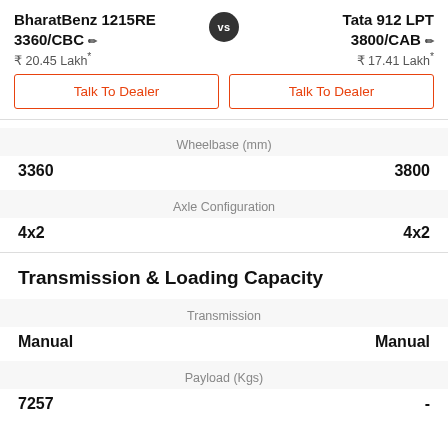BharatBenz 1215RE 3360/CBC vs Tata 912 LPT 3800/CAB
₹ 20.45 Lakh*
₹ 17.41 Lakh*
Talk To Dealer
Talk To Dealer
| BharatBenz 1215RE 3360/CBC | Spec | Tata 912 LPT 3800/CAB |
| --- | --- | --- |
| 3360 | Wheelbase (mm) | 3800 |
| 4x2 | Axle Configuration | 4x2 |
Transmission & Loading Capacity
| BharatBenz 1215RE 3360/CBC | Spec | Tata 912 LPT 3800/CAB |
| --- | --- | --- |
| Manual | Transmission | Manual |
| 7257 | Payload (Kgs) | - |